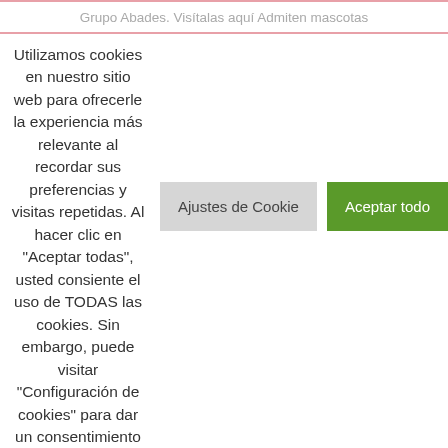Grupo Abades. Visítalas aquí Admiten mascotas
Utilizamos cookies en nuestro sitio web para ofrecerle la experiencia más relevante al recordar sus preferencias y visitas repetidas. Al hacer clic en "Aceptar todas", usted consiente el uso de TODAS las cookies. Sin embargo, puede visitar "Configuración de cookies" para dar un consentimiento controlado.
Ajustes de Cookie
Aceptar todo